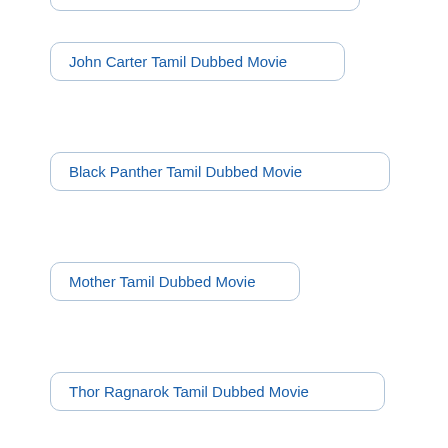John Carter Tamil Dubbed Movie
Black Panther Tamil Dubbed Movie
Mother Tamil Dubbed Movie
Thor Ragnarok Tamil Dubbed Movie
Underdog Tamil Dubbed Movie
Kappela Malayalam Movie Download
Dynamite Telugu Movie Download
Black Widow English Movie Download
Ready Player One Tamil Dubbed Movie